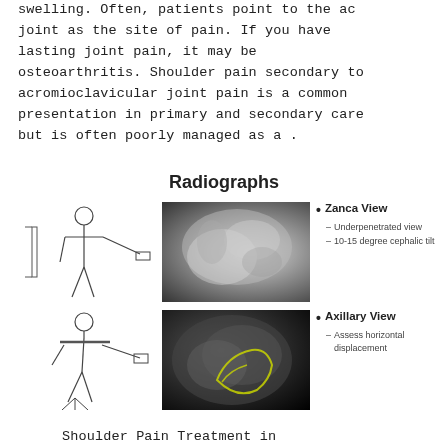swelling. Often, patients point to the ac joint as the site of pain. If you have lasting joint pain, it may be osteoarthritis. Shoulder pain secondary to acromioclavicular joint pain is a common presentation in primary and secondary care but is often poorly managed as a .
Radiographs
[Figure (illustration): Two anatomical sketches of a patient positioning for shoulder radiograph views (top: Zanca view positioning; bottom: Axillary view positioning), alongside two shoulder X-ray radiograph images (top: Zanca view showing AC joint, underpenetrated with cephalic tilt; bottom: Axillary view with yellow outline showing horizontal displacement). Bullet points list: Zanca View (Underpenetrated view, 10-15 degree cephalic tilt) and Axillary View (Assess horizontal displacement).]
Shoulder Pain Treatment in